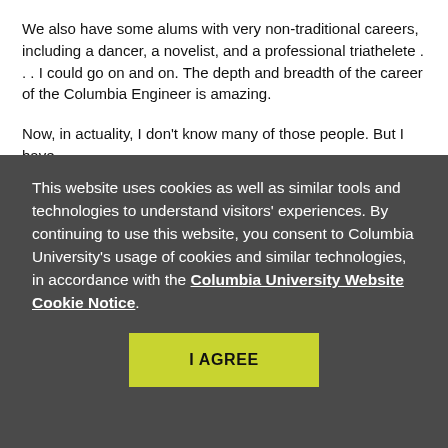We also have some alums with very non-traditional careers, including a dancer, a novelist, and a professional triathelete . . . I could go on and on. The depth and breadth of the career of the Columbia Engineer is amazing.
Now, in actuality, I don't know many of those people. But I have
This website uses cookies as well as similar tools and technologies to understand visitors' experiences. By continuing to use this website, you consent to Columbia University's usage of cookies and similar technologies, in accordance with the Columbia University Website Cookie Notice.
[Figure (other): A yellow-green 'I AGREE' button for cookie consent]